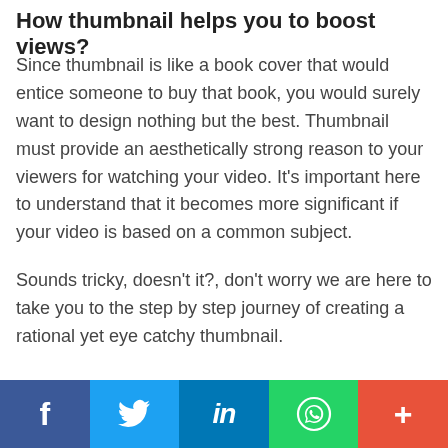How thumbnail helps you to boost views?
Since thumbnail is like a book cover that would entice someone to buy that book, you would surely want to design nothing but the best. Thumbnail must provide an aesthetically strong reason to your viewers for watching your video. It’s important here to understand that it becomes more significant if your video is based on a common subject.
Sounds tricky, doesn’t it?, don’t worry we are here to take you to the step by step journey of creating a rational yet eye catchy thumbnail.
[Figure (infographic): Social sharing bar with five buttons: Facebook (dark blue), Twitter (light blue), LinkedIn (blue), WhatsApp (green), and a Plus/more button (orange-red), each showing the respective icon in white.]